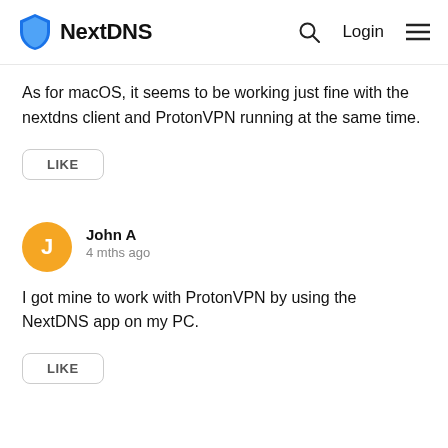NextDNS — Login
As for macOS, it seems to be working just fine with the nextdns client and ProtonVPN running at the same time.
LIKE
John A
4 mths ago
I got mine to work with ProtonVPN by using the NextDNS app on my PC.
LIKE